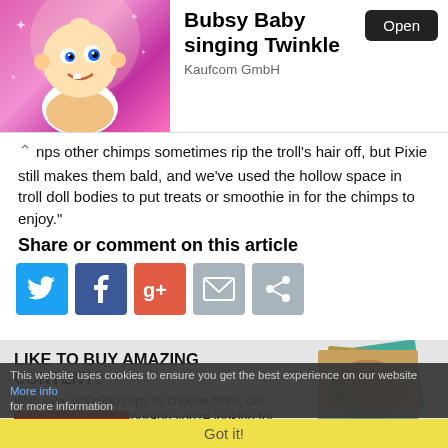[Figure (screenshot): App advertisement banner for 'Bubsy Baby singing Twinkle' by Kaufcom GmbH with animated baby character on pink background and an Open button]
nps other chimps sometimes rip the troll's hair off, but Pixie still makes them bald, and we've used the hollow space in troll doll bodies to put treats or smoothie in for the chimps to enjoy."
Share or comment on this article
[Figure (infographic): Social share icons: Twitter (blue bird), Facebook (blue f), Google+ (red g+), Email (grey envelope), Share (grey)]
LIKE TO BUY AMAZING CONTENT? With over 300,000 clips to choose from, our archive has the photograph you're looking for. CLICK HERE for more information
This website uses cookies to ensure you get the best experience on our website More info Got it!